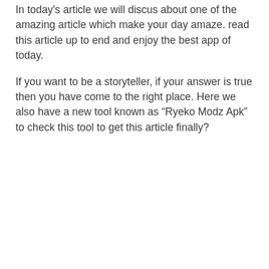In today's article we will discus about one of the amazing article which make your day amaze. read this article up to end and enjoy the best app of today.
If you want to be a storyteller, if your answer is true then you have come to the right place. Here we also have a new tool known as “Ryeko Modz Apk” to check this tool to get this article finally?